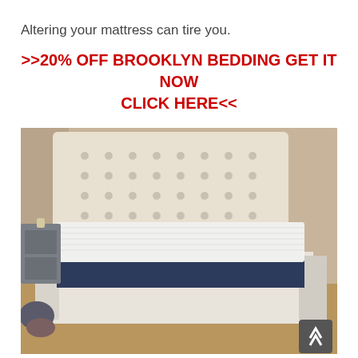Altering your mattress can tire you.
>>20% OFF BROOKLYN BEDDING GET IT NOW CLICK HERE<<
[Figure (photo): A white king-size bed with tufted upholstered headboard in a bedroom, with a Brooklyn Bedding mattress (white top, navy/dark base) placed on a white platform bed frame. A grey nightstand is visible on the left side. Items are on the floor to the left. Carpeted floor visible.]